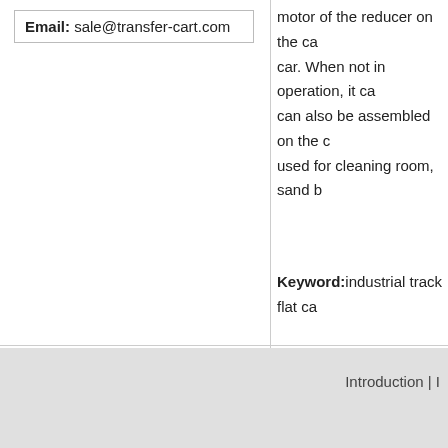Email: sale@transfer-cart.com
motor of the reducer on the car. When not in operation, it can also be assembled on the can also be used for cleaning room, sand b
Keyword:industrial track flat ca
Introduction | I